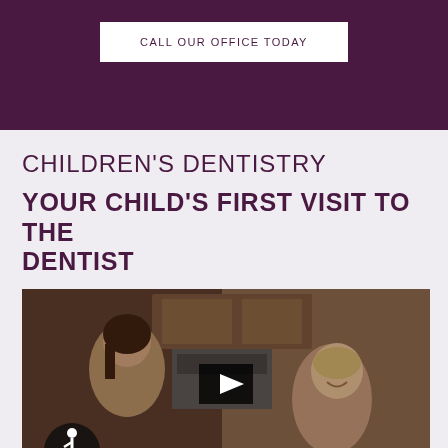CALL OUR OFFICE TODAY
CHILDREN'S DENTISTRY
YOUR CHILD'S FIRST VISIT TO THE DENTIST
[Figure (photo): Video thumbnail showing a mother and toddler in a kitchen setting, with a play button overlay in the center. Accessibility wheelchair icon in bottom left. Language flag icons in bottom right.]